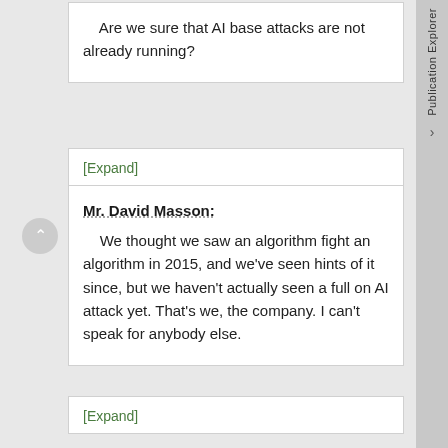Are we sure that AI base attacks are not already running?
[Expand]
Mr. David Masson:
We thought we saw an algorithm fight an algorithm in 2015, and we've seen hints of it since, but we haven't actually seen a full on AI attack yet. That's we, the company. I can't speak for anybody else.
[Expand]